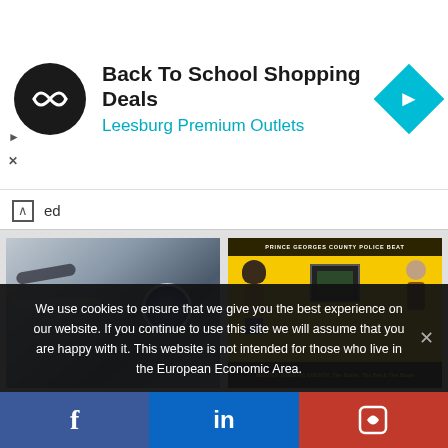[Figure (screenshot): Advertisement banner: black circular logo with infinity-like symbol, text 'Back To School Shopping Deals' in bold black, 'Leesburg Premium Outlets' in cyan/blue, and a cyan diamond-shaped arrow icon on the right]
ed
[Figure (photo): Close-up photo of a police motorcycle with a blue circular badge/emblem visible]
[Figure (illustration): Cartoon illustration on yellow background titled 'PRINCE GEORGES COUNTY POLICE BEAT' with cartoon characters. Bottom bar reads: 'MURDER TOWN PG COUNTY: The Bullet, The Bat & The Blade']
Murder USA: PG Cops Catch a Fresh Murder to Start 2016; Catherine Alvarado of Van Buren
MURDER USA MURDER USA Two teens charged with murder of Francisco Sagastizado; PG Circuit
We use cookies to ensure that we give you the best experience on our website. If you continue to use this site we will assume that you are happy with it. This website is not intended for those who live in the European Economic Area.
[Figure (screenshot): Social media share buttons: Facebook (blue), LinkedIn (blue), and Parler (red) icons]